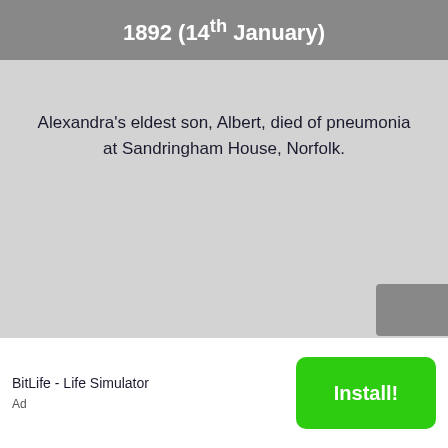1892 (14th January)
Alexandra's eldest son, Albert, died of pneumonia at Sandringham House, Norfolk.
BitLife - Life Simulator  |  Install!  |  Ad